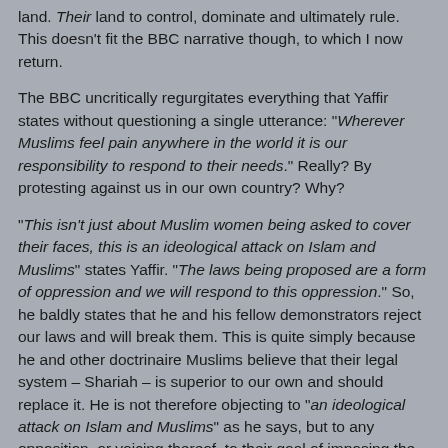land. Their land to control, dominate and ultimately rule. This doesn't fit the BBC narrative though, to which I now return.
The BBC uncritically regurgitates everything that Yaffir states without questioning a single utterance: "Wherever Muslims feel pain anywhere in the world it is our responsibility to respond to their needs." Really? By protesting against us in our own country? Why?
"This isn't just about Muslim women being asked to cover their faces, this is an ideological attack on Islam and Muslims" states Yaffir. "The laws being proposed are a form of oppression and we will respond to this oppression." So, he baldly states that he and his fellow demonstrators reject our laws and will break them. This is quite simply because he and other doctrinaire Muslims believe that their legal system – Shariah – is superior to our own and should replace it. He is not therefore objecting to "an ideological attack on Islam and Muslims" as he says, but to any opposition, or voicing thereof, to their goal of imposing the Islamic system upon non-Muslim peoples in their own homelands. Yaffir and his co-demonstrators are totalitarians who seek to impose an